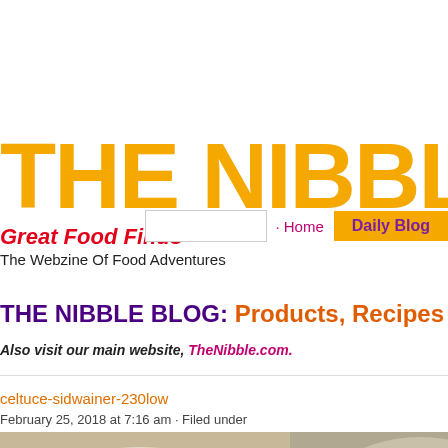THE NIBBLE
Great Food Finds
The Webzine Of Food Adventures
Home   Daily Blog
THE NIBBLE BLOG: Products, Recipes & Trends
Also visit our main website, TheNibble.com.
celtuce-sidwainer-230low
February 25, 2018 at 7:16 am · Filed under
[Figure (photo): Food photo showing vegetables including lettuce in bowls and a salad with tomatoes]